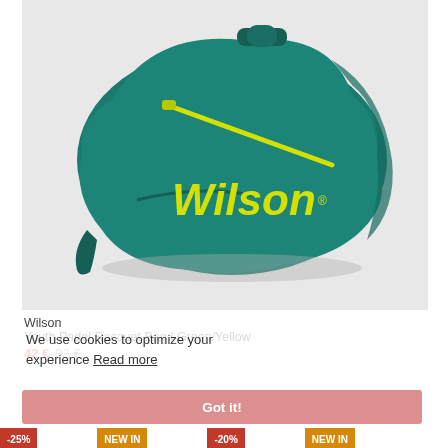[Figure (photo): Wilson Youth Padel Racquet Bag in Green/Yellow color on a light gray background. The bag features the Wilson logo in yellow on a teal/green body with yellow zipper accents.]
Wilson
Youth Padel Racquet Bag | Green/Yellow
42 € 32 €
We use cookies to optimize your experience Read more
Got it!
-25%
NEW IN
-20%
NEW IN